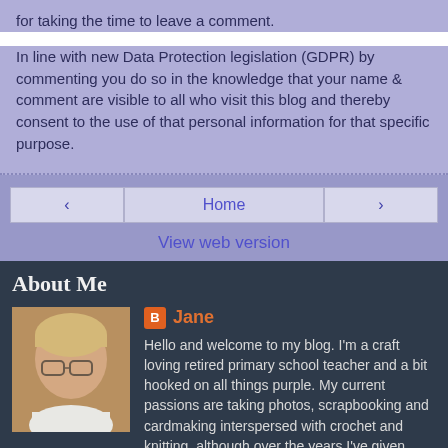for taking the time to leave a comment.
In line with new Data Protection legislation (GDPR) by commenting you do so in the knowledge that your name & comment are visible to all who visit this blog and thereby consent to the use of that personal information for that specific purpose.
‹
Home
›
View web version
About Me
[Figure (photo): Profile photo of Jane, a blonde woman wearing glasses]
Jane
Hello and welcome to my blog. I'm a craft loving retired primary school teacher and a bit hooked on all things purple. My current passions are taking photos, scrapbooking and cardmaking interspersed with crochet and knitting, although over the years I've given most